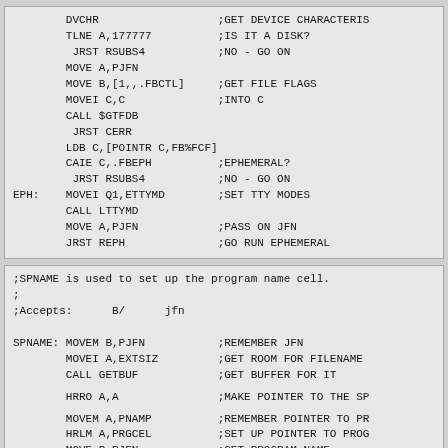DVCHR ;GET DEVICE CHARACTERIS
 TLNE A,177777 ;IS IT A DISK?
  JRST RSUBS4 ;NO - GO ON
 MOVE A,PJFN
 MOVE B,[1,,.FBCTL] ;GET FILE FLAGS
 MOVEI C,C ;INTO C
 CALL $GTFDB
  JRST CERR
 LDB C,[POINTR C,FB%FCF]
 CAIE C,.FBEPH ;EPHEMERAL?
  JRST RSUBS4 ;NO - GO ON
EPH: MOVEI Q1,ETTYMD ;SET TTY MODES
 CALL LTTYMD
 MOVE A,PJFN ;PASS ON JFN
 JRST REPH ;GO RUN EPHEMERAL
;SPNAME is used to set up the program name cell.
;
;Accepts:      B/      jfn

SPNAME: MOVEM B,PJFN ;REMEMBER JFN
        MOVEI A,EXTSIZ ;GET ROOM FOR FILENAME
        CALL GETBUF ;GET BUFFER FOR IT
        HRRO A,A ;MAKE POINTER TO THE SPA
        MOVEM A,PNAMP ;REMEMBER POINTER TO PR
        HRLM A,PRGCEL ;SET UP POINTER TO PROG
        MOVE B,PJFN ;GET PROGRAM NAME
        MOVX C,1B8 ;WE WANT JUST THE NAME